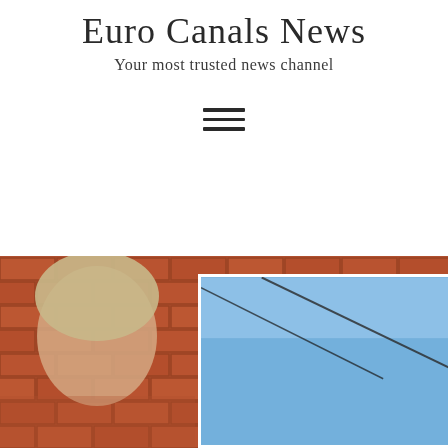Euro Canals News
Your most trusted news channel
[Figure (other): Hamburger menu icon with three horizontal lines]
[Figure (photo): Photo strip showing a person in front of a red brick wall on the left, and a separate inset image showing blue sky with a wire/cable on the right]